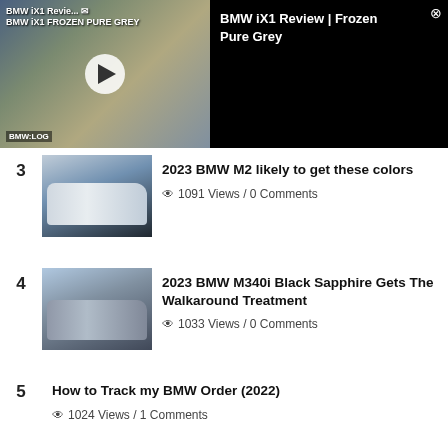[Figure (screenshot): BMW iX1 Review Frozen Pure Grey video player thumbnail with play button, showing man in front of BMW cars at event. Black info panel on right showing video title.]
3 — 2023 BMW M2 likely to get these colors — 1091 Views / 0 Comments
4 — 2023 BMW M340i Black Sapphire Gets The Walkaround Treatment — 1033 Views / 0 Comments
5 — How to Track my BMW Order (2022) — 1024 Views / 1 Comments